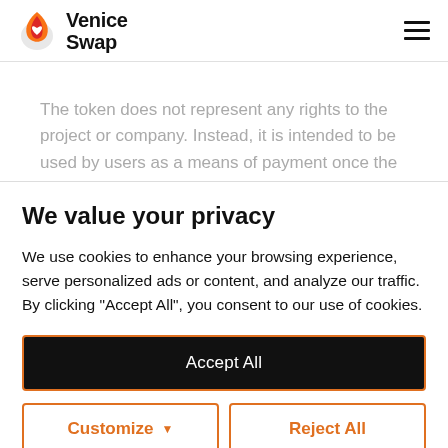Venice Swap
The token does not represent any rights to the project or company. Instead, it is intended to be used by users as a means of payment once the project has been completed. So, if the project is successful, the demand for the
We value your privacy
We use cookies to enhance your browsing experience, serve personalized ads or content, and analyze our traffic. By clicking "Accept All", you consent to our use of cookies.
Accept All
Customize
Reject All